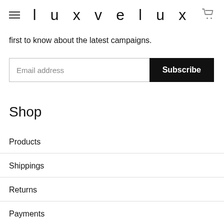luxvelux
first to know about the latest campaigns.
Email address  Subscribe
Shop
Products
Shippings
Returns
Payments
Account